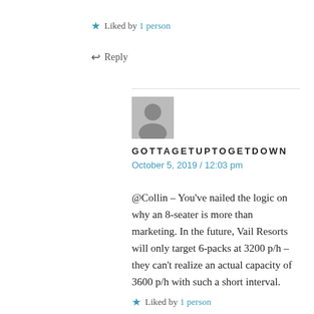★ Liked by 1 person
↩ Reply
GOTTAGETUPTOGETDOWN
October 5, 2019 / 12:03 pm
@Collin – You've nailed the logic on why an 8-seater is more than marketing. In the future, Vail Resorts will only target 6-packs at 3200 p/h – they can't realize an actual capacity of 3600 p/h with such a short interval.
★ Liked by 1 person